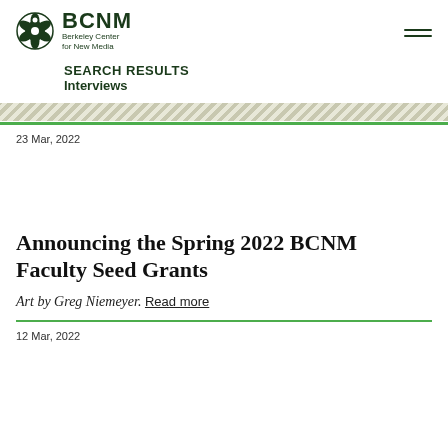BCNM Berkeley Center for New Media
SEARCH RESULTS
Interviews
23 Mar, 2022
Announcing the Spring 2022 BCNM Faculty Seed Grants
Art by Greg Niemeyer. Read more
12 Mar, 2022